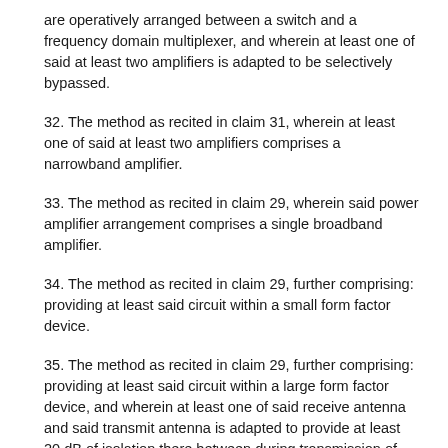are operatively arranged between a switch and a frequency domain multiplexer, and wherein at least one of said at least two amplifiers is adapted to be selectively bypassed.
32. The method as recited in claim 31, wherein at least one of said at least two amplifiers comprises a narrowband amplifier.
33. The method as recited in claim 29, wherein said power amplifier arrangement comprises a single broadband amplifier.
34. The method as recited in claim 29, further comprising: providing at least said circuit within a small form factor device.
35. The method as recited in claim 29, further comprising: providing at least said circuit within a large form factor device, and wherein at least one of said receive antenna and said transmit antenna is adapted to provide at least 20 dB of isolation there between during transmission of said wireless signal via said transmit antenna.
36. The method as recited in claim 29, further comprising: selectively adapting at least one of said transmit and receive antennas for operation with at least two different wireless signal frequencies, frequency bands, or frequency channels.